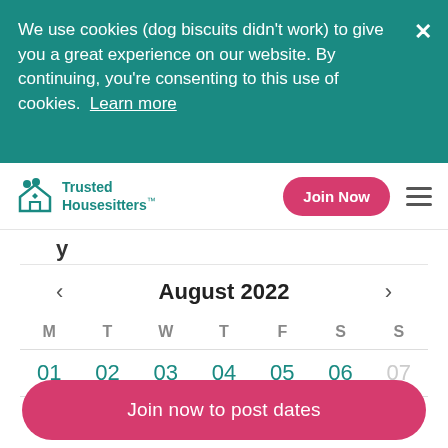We use cookies (dog biscuits didn't work) to give you a great experience on our website. By continuing, you're consenting to this use of cookies. Learn more
[Figure (logo): Trusted Housesitters logo with teal house icon and two people silhouettes]
Join Now
August 2022
| M | T | W | T | F | S | S |
| --- | --- | --- | --- | --- | --- | --- |
| 01 | 02 | 03 | 04 | 05 | 06 | 07 |
| 08 | 09 | 10 | 11 | 12 | 13 | 14 |
Join now to post dates